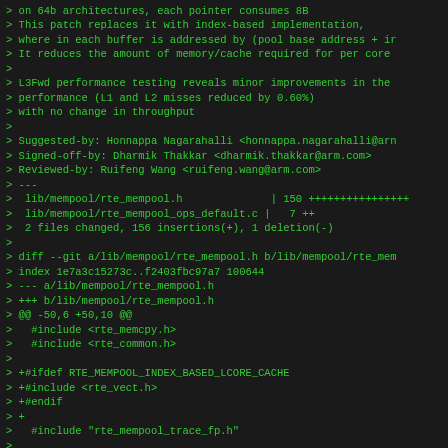> on 64b architectures, each pointer consumes 8B
> This patch replaces it with index-based implementation,
> where in each buffer is addressed by (pool base address + ir
> It reduces the amount of memory/cache required for per core
>
> L3Fwd performance testing reveals minor improvements in the
> performance (L1 and L2 misses reduced by 0.60%)
> with no change in throughput
>
> Suggested-by: Honnappa Nagarahalli <honnappa.nagarahalli@arn
> Signed-off-by: Dharmik Thakkar <dharmik.thakkar@arm.com>
> Reviewed-by: Ruifeng Wang <ruifeng.wang@arm.com>
> ---
>  lib/mempool/rte_mempool.h              | 150 +++++++++++++++++
>  lib/mempool/rte_mempool_ops_default.c |   7 ++
>  2 files changed, 156 insertions(+), 1 deletion(-)
>
> diff --git a/lib/mempool/rte_mempool.h b/lib/mempool/rte_mem
> index 1e7a3c15273c..f2403fbc97a7 100644
> --- a/lib/mempool/rte_mempool.h
> +++ b/lib/mempool/rte_mempool.h
> @@ -50,6 +50,10 @@
>   #include <rte_memcpy.h>
>   #include <rte_common.h>
>
> +#ifdef RTE_MEMPOOL_INDEX_BASED_LCORE_CACHE
> +#include <rte_vect.h>
> +#endif
> +
>   #include "rte_mempool_trace_fp.h"
>
>   #ifdef __cplusplus